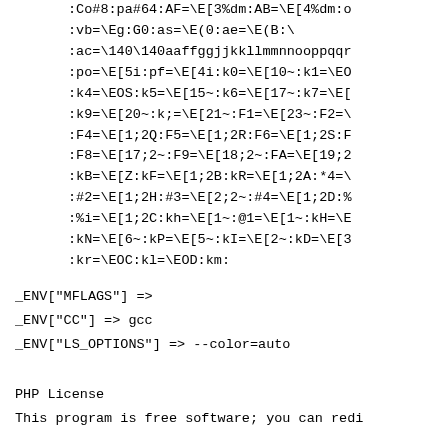:Co#8:pa#64:AF=\E[3%dm:AB=\E[4%dm:o
:vb=\Eg:G0:as=\E(0:ae=\E(B:\
:ac=\140\140aaffggjjkkllmmnnooppqqr
:po=\E[5i:pf=\E[4i:k0=\E[10~:k1=\EO
:k4=\EOS:k5=\E[15~:k6=\E[17~:k7=\E[
:k9=\E[20~:k;=\E[21~:F1=\E[23~:F2=\
:F4=\E[1;2Q:F5=\E[1;2R:F6=\E[1;2S:F
:F8=\E[17;2~:F9=\E[18;2~:FA=\E[19;2
:kB=\E[Z:kF=\E[1;2B:kR=\E[1;2A:*4=\
:#2=\E[1;2H:#3=\E[2;2~:#4=\E[1;2D:%
:%i=\E[1;2C:kh=\E[1~:@1=\E[1~:kH=\E
:kN=\E[6~:kP=\E[5~:kI=\E[2~:kD=\E[3
:kr=\EOC:kl=\EOD:km:
_ENV["MFLAGS"] =>
_ENV["CC"] => gcc
_ENV["LS_OPTIONS"] => --color=auto
PHP License
This program is free software; you can redi